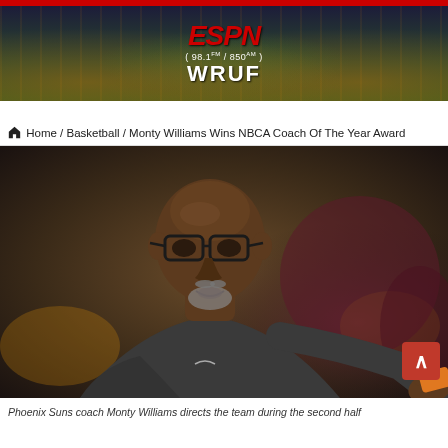[Figure (photo): ESPN WRUF radio station banner with stadium crowd background, showing ESPN logo in red, frequency 98.1FM / 850AM, and WRUF text]
Home / Basketball / Monty Williams Wins NBCA Coach Of The Year Award
[Figure (photo): Phoenix Suns coach Monty Williams wearing glasses and dark jacket, pointing/directing during a game]
Phoenix Suns coach Monty Williams directs the team during the second half